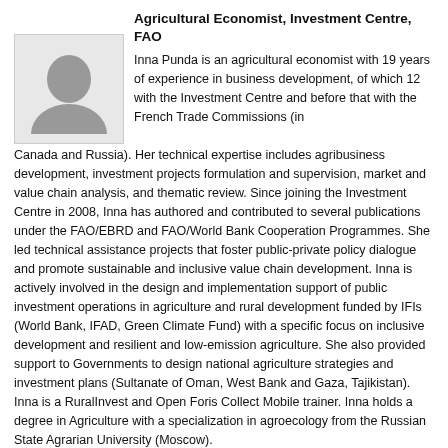Agricultural Economist, Investment Centre, FAO
[Figure (photo): Profile photo placeholder for Inna Punda]
Inna Punda is an agricultural economist with 19 years of experience in business development, of which 12 with the Investment Centre and before that with the French Trade Commissions (in Canada and Russia). Her technical expertise includes agribusiness development, investment projects formulation and supervision, market and value chain analysis, and thematic review. Since joining the Investment Centre in 2008, Inna has authored and contributed to several publications under the FAO/EBRD and FAO/World Bank Cooperation Programmes. She led technical assistance projects that foster public-private policy dialogue and promote sustainable and inclusive value chain development. Inna is actively involved in the design and implementation support of public investment operations in agriculture and rural development funded by IFIs (World Bank, IFAD, Green Climate Fund) with a specific focus on inclusive development and resilient and low-emission agriculture. She also provided support to Governments to design national agriculture strategies and investment plans (Sultanate of Oman, West Bank and Gaza, Tajikistan). Inna is a RuralInvest and Open Foris Collect Mobile trainer. Inna holds a degree in Agriculture with a specialization in agroecology from the Russian State Agrarian University (Moscow).
[Figure (photo): Profile photo placeholder for Kateryna Schroeder]
Kateryna Schroeder